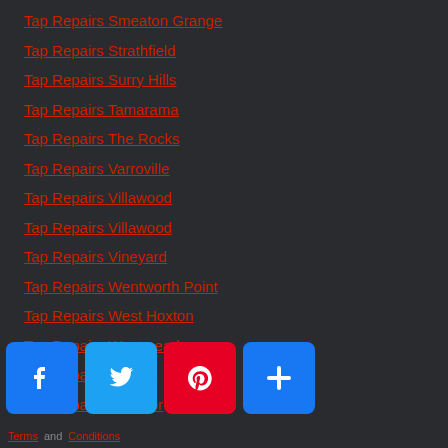Tap Repairs Smeaton Grange
Tap Repairs Strathfield
Tap Repairs Surry Hills
Tap Repairs Tamarama
Tap Repairs The Rocks
Tap Repairs Varroville
Tap Repairs Villawood
Tap Repairs Villawood
Tap Repairs Vineyard
Tap Repairs Wentworth Point
Tap Repairs West Hoxton
Tap Repairs Westmead
Tap Repairs Willmot
Tap Repairs Windsor
Tap Repairs Woolwich
Tap Repairs Yagoona
Telopea Plumbers
Terms and Conditions